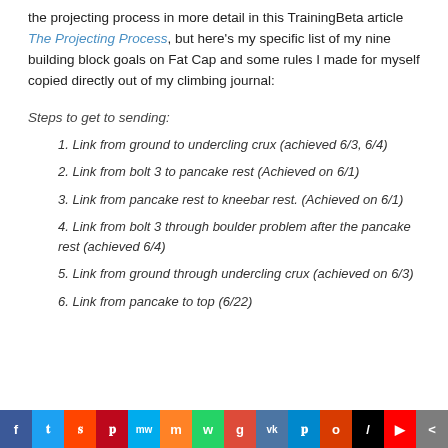the projecting process in more detail in this TrainingBeta article The Projecting Process, but here's my specific list of my nine building block goals on Fat Cap and some rules I made for myself copied directly out of my climbing journal:
Steps to get to sending:
1. Link from ground to undercling crux (achieved 6/3, 6/4)
2. Link from bolt 3 to pancake rest (Achieved on 6/1)
3. Link from pancake rest to kneebar rest. (Achieved on 6/1)
4. Link from bolt 3 through boulder problem after the pancake rest (achieved 6/4)
5. Link from ground through undercling crux (achieved on 6/3)
6. Link from pancake to top (6/22)
f  t  s  p  mw  m  w  g  vk  p  o  /  yt  <